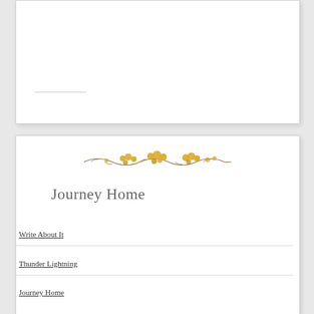[Figure (illustration): Top white card panel with a horizontal divider line near the bottom left]
[Figure (illustration): Decorative floral/botanical strip divider with yellow flowers and brown twigs]
Journey Home
Write About It
Thunder Lightning
Journey Home